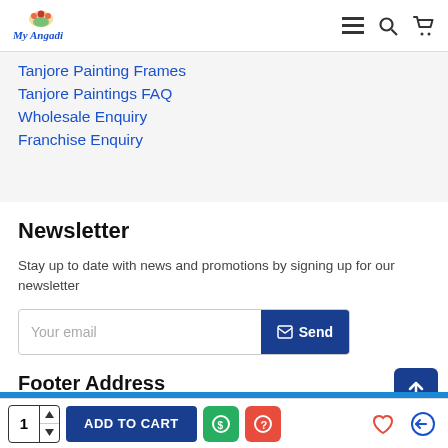My Angadi (logo) — navigation icons
Tanjore Painting Frames
Tanjore Paintings FAQ
Wholesale Enquiry
Franchise Enquiry
Newsletter
Stay up to date with news and promotions by signing up for our newsletter
Your email [Send button]
I have read and agree to the Privacy Policy
Footer Address
1 | ADD TO CART | [dollar icon] | [help icon] | [heart icon] | [return icon]